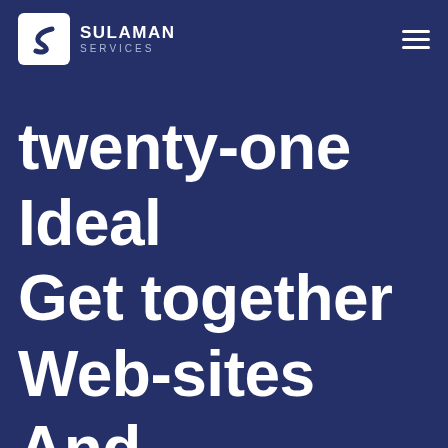[Figure (logo): Sulaman Services logo with stylized S icon and company name]
twenty-one Ideal Get together Web-sites And Sex Apps For